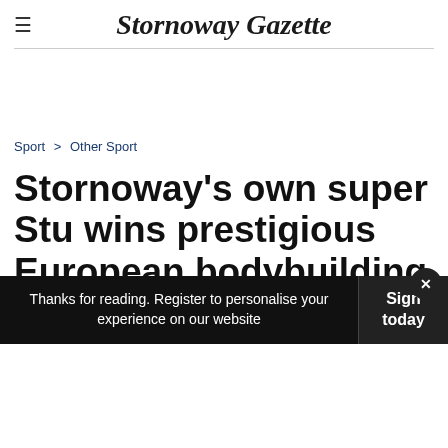Stornoway Gazette
Sport > Other Sport
Stornoway's own super Stu wins prestigious European bodybuilding title
Thanks for reading. Register to personalise your experience on our website
Sign today